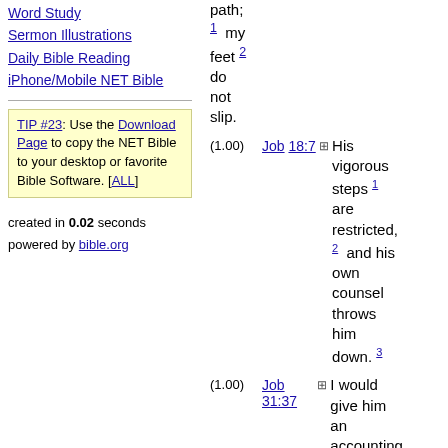Word Study
Sermon Illustrations
Daily Bible Reading
iPhone/Mobile NET Bible
TIP #23: Use the Download Page to copy the NET Bible to your desktop or favorite Bible Software. [ALL]
created in 0.02 seconds
powered by bible.org
path; 1 my feet 2 do not slip.
(1.00) Job 18:7 + His vigorous steps 1 are restricted, 2 and his own counsel throws him down. 3
(1.00) Job 31:37 + I would give him an accounting of my steps; like a prince I